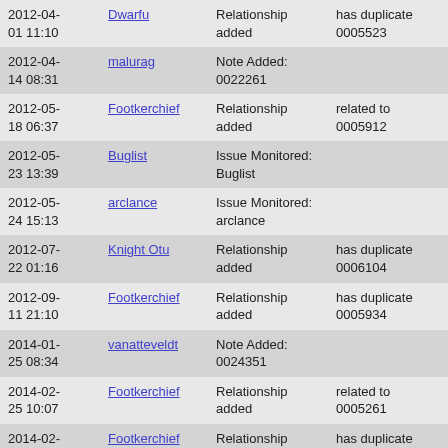| Date | User | Action | Detail |
| --- | --- | --- | --- |
| 2012-04-01 11:10 | Dwarfu | Relationship added | has duplicate 0005523 |
| 2012-04-14 08:31 | malurag | Note Added: 0022261 |  |
| 2012-05-18 06:37 | Footkerchief | Relationship added | related to 0005912 |
| 2012-05-23 13:39 | Buglist | Issue Monitored: Buglist |  |
| 2012-05-24 15:13 | arclance | Issue Monitored: arclance |  |
| 2012-07-22 01:16 | Knight Otu | Relationship added | has duplicate 0006104 |
| 2012-09-11 21:10 | Footkerchief | Relationship added | has duplicate 0005934 |
| 2014-01-25 08:34 | vanatteveldt | Note Added: 0024351 |  |
| 2014-02-25 10:07 | Footkerchief | Relationship added | related to 0005261 |
| 2014-02-25 10:57 | Footkerchief | Relationship replaced | has duplicate 0005261 |
| 2014-07-10 19:44 | Footkerchief | Relationship added | has duplicate 0007000 |
| 2014-07-14 13:27 | Footkerchief | Relationship added | related to 0006784 |
| 2014-07-18 07:54 | Footkerchief | Relationship added | related to 0007445 |
| 2014-07-18 07:55 | Footkerchief | Relationship added | related to 0007447 |